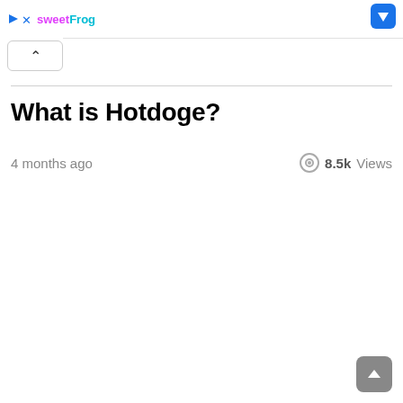sweetFrog
What is Hotdoge?
4 months ago   8.5k Views